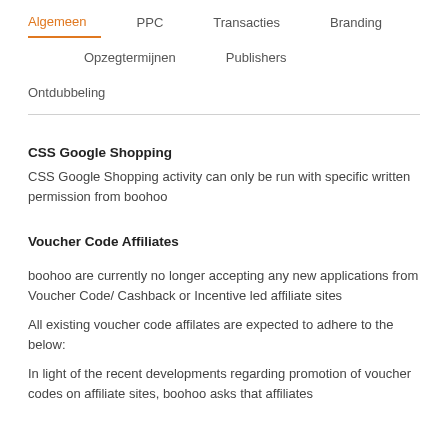Algemeen  PPC  Transacties  Branding  Opzegtermijnen  Publishers  Ontdubbeling
CSS Google Shopping
CSS Google Shopping activity can only be run with specific written permission from boohoo
Voucher Code Affiliates
boohoo are currently no longer accepting any new applications from Voucher Code/ Cashback or Incentive led affiliate sites
All existing voucher code affilates are expected to adhere to the below:
In light of the recent developments regarding promotion of voucher codes on affiliate sites, boohoo asks that affiliates